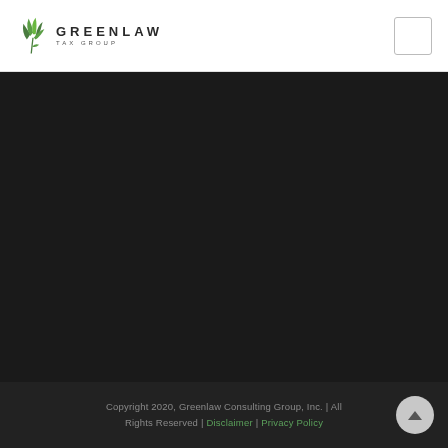GREENLAW TAX GROUP
[Figure (logo): Greenlaw Tax Group logo with green leaf/plant icon and company name in spaced capitals]
Copyright 2020, Greenlaw Consulting Group, Inc. | All Rights Reserved | Disclaimer | Privacy Policy